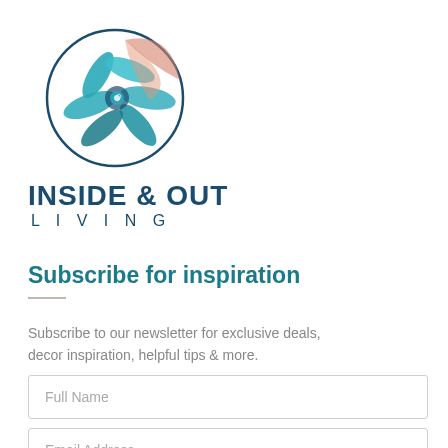[Figure (logo): Inside & Out Living logo: circular design with stylized teal/blue flower and coral leaf on white background]
INSIDE & OUT LIVING
Subscribe for inspiration
Subscribe to our newsletter for exclusive deals, decor inspiration, helpful tips & more.
Full Name
Email Address